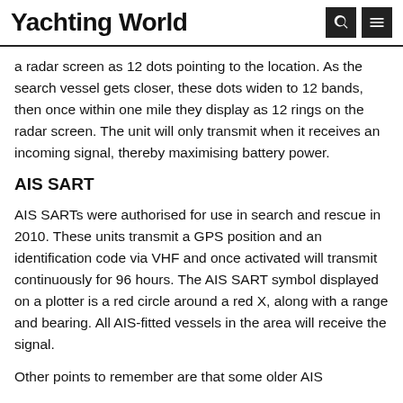Yachting World
a radar screen as 12 dots pointing to the location. As the search vessel gets closer, these dots widen to 12 bands, then once within one mile they display as 12 rings on the radar screen. The unit will only transmit when it receives an incoming signal, thereby maximising battery power.
AIS SART
AIS SARTs were authorised for use in search and rescue in 2010. These units transmit a GPS position and an identification code via VHF and once activated will transmit continuously for 96 hours. The AIS SART symbol displayed on a plotter is a red circle around a red X, along with a range and bearing. All AIS-fitted vessels in the area will receive the signal.
Other points to remember are that some older AIS